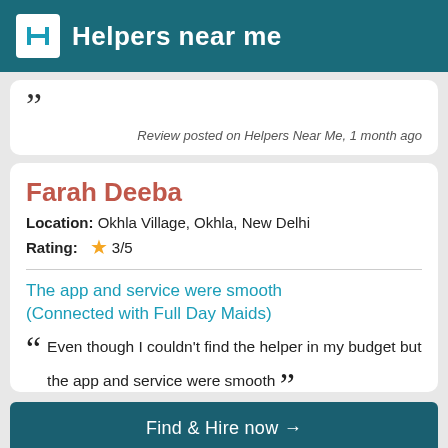Helpers near me
Review posted on Helpers Near Me, 1 month ago
Farah Deeba
Location: Okhla Village, Okhla, New Delhi
Rating: 3/5
The app and service were smooth (Connected with Full Day Maids)
Even though I couldn't find the helper in my budget but the app and service were smooth
Find & Hire now →